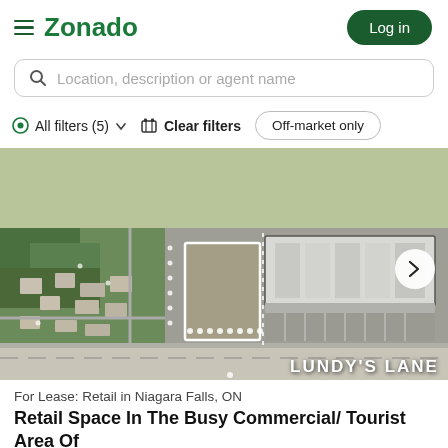Zonado
Location, description or agent name
All filters (5)  Clear filters  Off-market only
[Figure (photo): Aerial satellite view of a commercial property on Lundy's Lane in Niagara Falls, ON. A rectangular parcel of land is outlined in white, adjacent to a large commercial building with parking lot. Residential neighborhood visible to the left, with open fields above. Text 'LUNDY'S LANE' appears in the bottom-right corner.]
For Lease: Retail in Niagara Falls, ON
Retail Space In The Busy Commercial/ Tourist Area Of